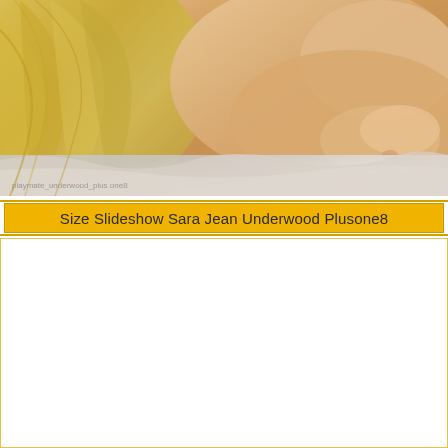[Figure (photo): Close-up photograph of a blonde woman lying down with long hair visible, warm skin tones, with crumpled white fabric/bedding visible in lower portion. Watermark text visible at bottom left.]
Size Slideshow Sara Jean Underwood Plusone8
[Figure (other): White/blank rectangular area with golden-yellow border, likely an advertisement or content placeholder]